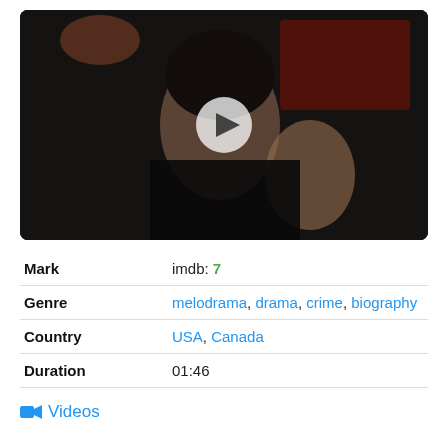[Figure (photo): Video thumbnail showing a dark-haired woman in a black top, seated in a dimly lit setting with red decor in background; a play button icon overlaid in center]
| Mark | imdb: 7 |
| Genre | melodrama, drama, crime, biography |
| Country | USA, Canada |
| Duration | 01:46 |
📹 Videos
The story of the awakening of the painter, Margaret